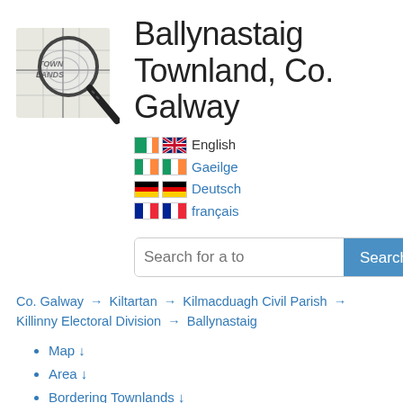[Figure (logo): Townlands website logo: a magnifying glass over an old map with 'TOWN LANDS' text]
Ballynastaig Townland, Co. Galway
English
Gaeilge
Deutsch
français
Search for a to [Search]
Co. Galway → Kiltartan → Kilmacduagh Civil Parish → Killinny Electoral Division → Ballynastaig
Map ↓
Area ↓
Bordering Townlands ↓
Subtownlands ↓
Records Search ↓